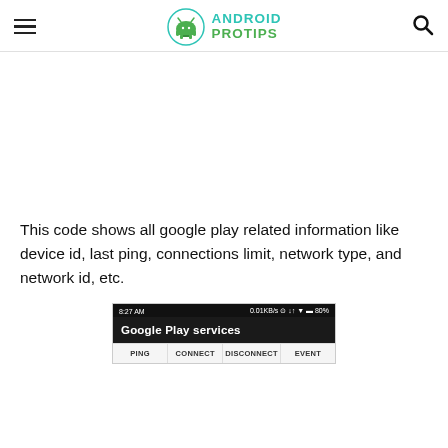Android Pro Tips
[Figure (other): Advertisement / blank white space area]
This code shows all google play related information like device id, last ping, connections limit, network type, and network id, etc.
[Figure (screenshot): Android phone screenshot showing Google Play services screen with status bar showing 8:27 AM and 0.01KB/s, title bar 'Google Play services', and tabs: PING, CONNECT, DISCONNECT, EVENT]